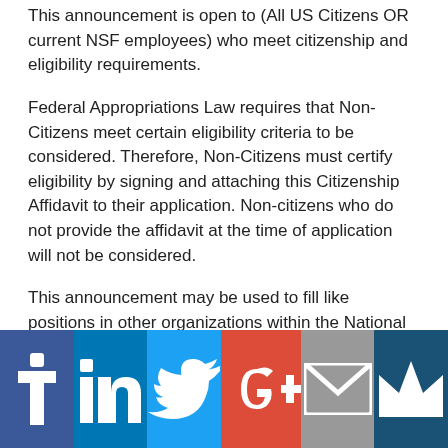This announcement is open to (All US Citizens OR current NSF employees) who meet citizenship and eligibility requirements.
Federal Appropriations Law requires that Non-Citizens meet certain eligibility criteria to be considered. Therefore, Non-Citizens must certify eligibility by signing and attaching this Citizenship Affidavit to their application. Non-citizens who do not provide the affidavit at the time of application will not be considered.
This announcement may be used to fill like positions in other organizations within the National Science Foundation.
NSF has determined that all of its positions are eligible for telework. Work suitable for telework depends on job duties; therefore, employees must receive approval from their supervisor for telework and have a telework agreement in
[Figure (infographic): Social sharing bar with six buttons: Facebook (blue), LinkedIn (blue), Twitter (light blue), Google+ (red), Email/envelope (gray), and a crown/Muck Rack icon (dark blue)]